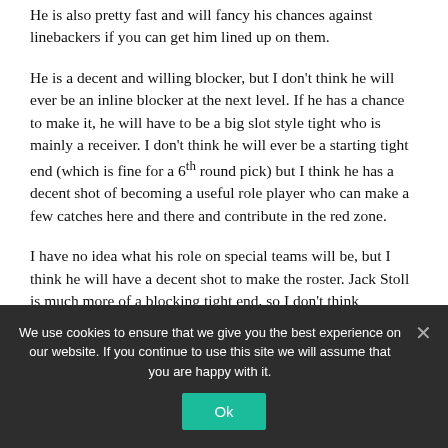He is also pretty fast and will fancy his chances against linebackers if you can get him lined up on them.
He is a decent and willing blocker, but I don't think he will ever be an inline blocker at the next level. If he has a chance to make it, he will have to be a big slot style tight who is mainly a receiver. I don't think he will ever be a starting tight end (which is fine for a 6th round pick) but I think he has a decent shot of becoming a useful role player who can make a few catches here and there and contribute in the red zone.
I have no idea what his role on special teams will be, but I think he will have a decent shot to make the roster. Jack Stoll is much more of a blocking tight end, so I don't think
We use cookies to ensure that we give you the best experience on our website. If you continue to use this site we will assume that you are happy with it.